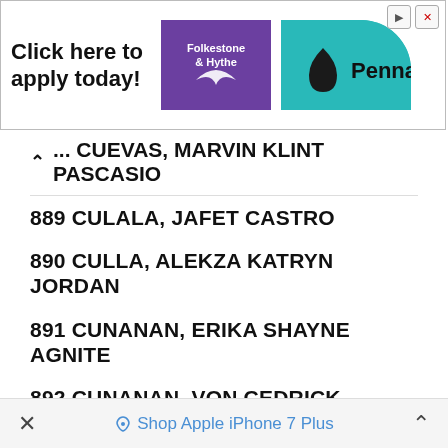[Figure (other): Advertisement banner: Click here to apply today! with Folkestone & Hythe and Penna logos]
... CUEVAS, MARVIN KLINT PASCASIO
889 CULALA, JAFET CASTRO
890 CULLA, ALEKZA KATRYN JORDAN
891 CUNANAN, ERIKA SHAYNE AGNITE
892 CUNANAN, VON CEDRICK VILLANUEVA
893 CURAYAG, LOUIS GLENN TIMCANG
894 CURIOSO, JOSHUA PEJI
895 CUSTODIO, BERNIE TIANCHON
896 CUSTODIO, IRAH MAE ESCARO
897 DAANG, JENNELYN AJEAS
898 DABALOS, EPHRAIM GEN LLANA
× Shop Apple iPhone 7 Plus ^